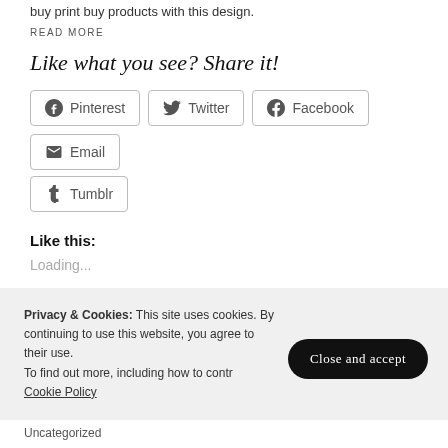buy print buy products with this design.
READ MORE
Like what you see? Share it!
Pinterest
Twitter
Facebook
Email
Tumblr
Like this:
Loading...
Privacy & Cookies: This site uses cookies. By continuing to use this website, you agree to their use. To find out more, including how to contr Cookie Policy
Close and accept
Uncategorized